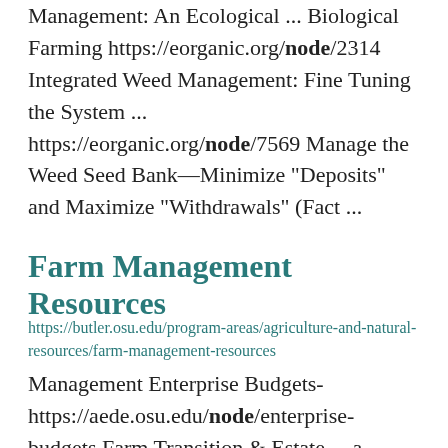Management: An Ecological ... Biological Farming https://eorganic.org/node/2314 Integrated Weed Management: Fine Tuning the System ... https://eorganic.org/node/7569 Manage the Weed Seed Bank—Minimize "Deposits" and Maximize "Withdrawals" (Fact ...
Farm Management Resources
https://butler.osu.edu/program-areas/agriculture-and-natural-resources/farm-management-resources
Management Enterprise Budgets- https://aede.osu.edu/node/enterprise-budgets Farm Transition & Estate ... a SWOT Analysis of Your Agricultural